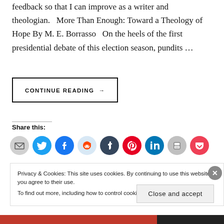feedback so that I can improve as a writer and theologian.   More Than Enough: Toward a Theology of Hope By M. E. Borrasso   On the heels of the first presidential debate of this election season, pundits …
CONTINUE READING →
Share this:
[Figure (infographic): Row of social share icon circles: email (grey), Twitter (blue), Facebook (blue), Reddit (light blue), Tumblr (dark navy), Pinterest (red), LinkedIn (blue), Print (grey), Pocket (pink/red)]
Privacy & Cookies: This site uses cookies. By continuing to use this website, you agree to their use.
To find out more, including how to control cookies, see here: Cookie Policy
Close and accept